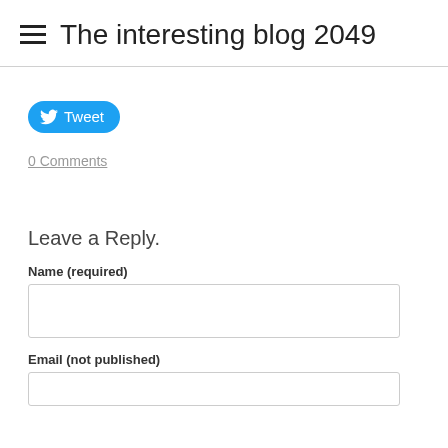The interesting blog 2049
[Figure (other): Twitter Tweet button with bird icon]
0 Comments
Leave a Reply.
Name (required)
Email (not published)